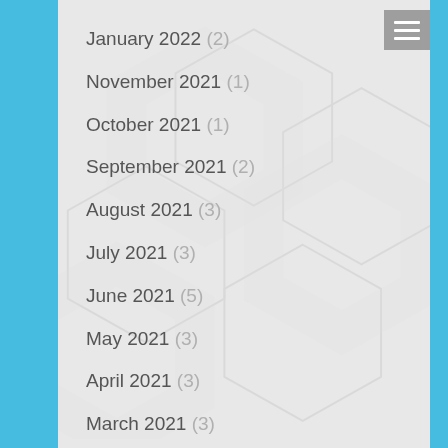January 2022 (2)
November 2021 (1)
October 2021 (1)
September 2021 (2)
August 2021 (3)
July 2021 (3)
June 2021 (5)
May 2021 (3)
April 2021 (3)
March 2021 (3)
February 2021 (4)
January 2021 (4)
December 2020 (5)